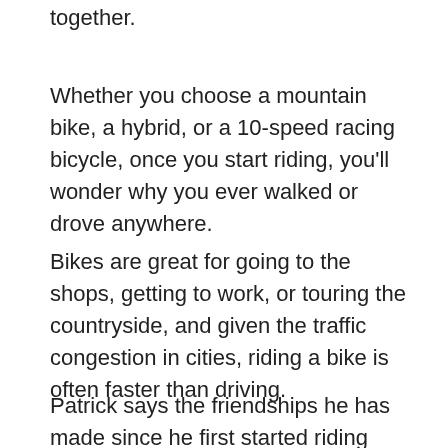together.
Whether you choose a mountain bike, a hybrid, or a 10-speed racing bicycle, once you start riding, you'll wonder why you ever walked or drove anywhere.
Bikes are great for going to the shops, getting to work, or touring the countryside, and given the traffic congestion in cities, riding a bike is often faster than driving.
Patrick says the friendships he has made since he first started riding